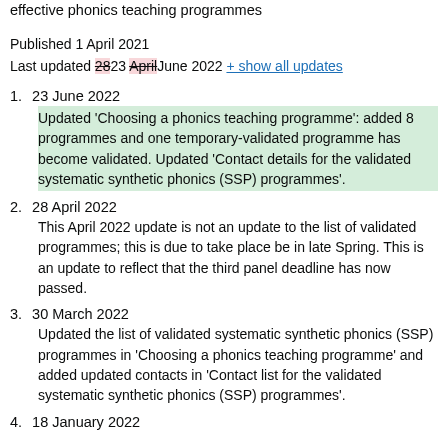effective phonics teaching programmes
Published 1 April 2021
Last updated 2823 AprilJune 2022 + show all updates
23 June 2022
Updated 'Choosing a phonics teaching programme': added 8 programmes and one temporary-validated programme has become validated. Updated 'Contact details for the validated systematic synthetic phonics (SSP) programmes'.
28 April 2022
This April 2022 update is not an update to the list of validated programmes; this is due to take place be in late Spring. This is an update to reflect that the third panel deadline has now passed.
30 March 2022
Updated the list of validated systematic synthetic phonics (SSP) programmes in 'Choosing a phonics teaching programme' and added updated contacts in 'Contact list for the validated systematic synthetic phonics (SSP) programmes'.
18 January 2022